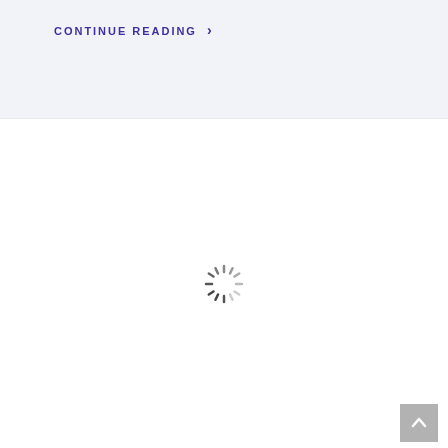CONTINUE READING >
[Figure (other): Loading spinner (circular dashed spinner icon indicating content is loading)]
[Figure (other): Back to top button with upward chevron arrow, grey square button in bottom right corner]